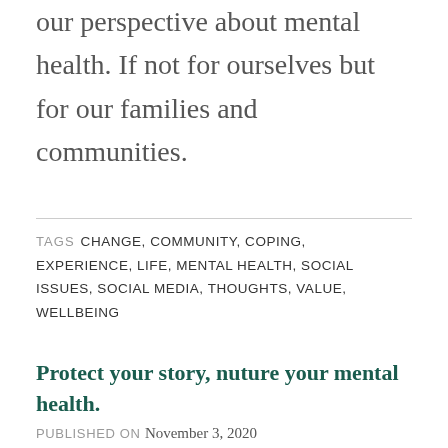our perspective about mental health. If not for ourselves but for our families and communities.
TAGS CHANGE, COMMUNITY, COPING, EXPERIENCE, LIFE, MENTAL HEALTH, SOCIAL ISSUES, SOCIAL MEDIA, THOUGHTS, VALUE, WELLBEING
Protect your story, nuture your mental health.
PUBLISHED ON November 3, 2020